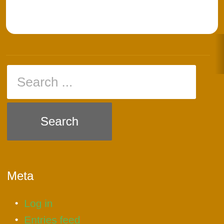[Figure (screenshot): White rounded card element at top of page, partially visible]
Search ...
Search
Meta
Log in
Entries feed
Comments feed
WordPress.org
Recent Posts